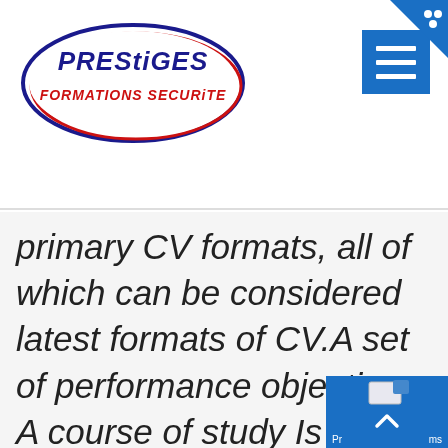[Figure (logo): Prestiges Formations Securite logo — oval shape with blue and red outlines, company name in stylized text]
[Figure (screenshot): Blue hamburger menu button (three horizontal white lines on blue background) in top right of header]
primary CV formats, all of which can be considered latest formats of CV.A set of performance objectives A course of study Is
[Figure (screenshot): Blue scroll-to-top button with upward chevron icon in bottom right corner, partially overlapping text]